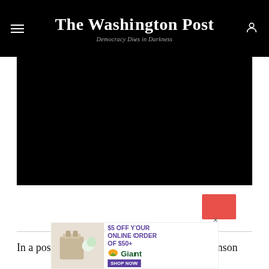The Washington Post
Democracy Dies in Darkness
[Figure (photo): Large dark/black image area below the header, likely a video or photo placeholder]
[Figure (other): Red/salmon colored rectangular button or UI element]
In a post for the legal blog Balkinization, Levinson
[Figure (other): Advertisement banner: $5 OFF YOUR ONLINE ORDER OF $50+ Giant SHOP NOW]